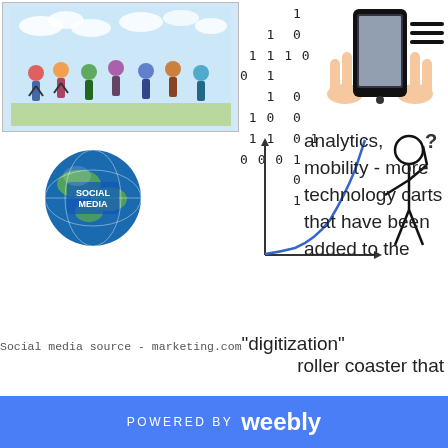[Figure (illustration): Collage of digital images: people walking with devices, social media globe, binary numbers, exponential growth chart, stick figure, hands holding smartphone]
analytics, mobility - more technology carts that have been added to the
Social media source - marketing.com
"digitization" roller coaster that is still in service with old carts such as e-commerce, online, and m-commerce. How do you maximize ROI and monetization impact of these digitization trends? The answer seems to depend very much on the industry you operate in as digital adoption by different industries is influenced by various factors such as consumer preferences, intensity of competition, physical vs virtual nature of goods and services being exchanged, financial
POWERED BY weebly